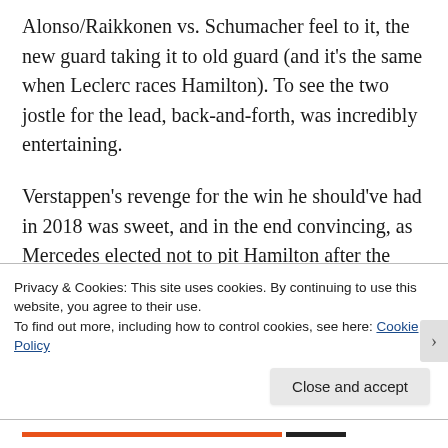Alonso/Raikkonen vs. Schumacher feel to it, the new guard taking it to old guard (and it's the same when Leclerc races Hamilton). To see the two jostle for the lead, back-and-forth, was incredibly entertaining.
Verstappen's revenge for the win he should've had in 2018 was sweet, and in the end convincing, as Mercedes elected not to pit Hamilton after the safety car, whereas Red Bull pitted Verstappen. Hamilton ended up
Privacy & Cookies: This site uses cookies. By continuing to use this website, you agree to their use.
To find out more, including how to control cookies, see here: Cookie Policy